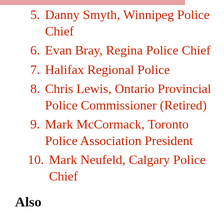5. Danny Smyth, Winnipeg Police Chief
6. Evan Bray, Regina Police Chief
7. Halifax Regional Police
8. Chris Lewis, Ontario Provincial Police Commissioner (Retired)
9. Mark McCormack, Toronto Police Association President
10. Mark Neufeld, Calgary Police Chief
Also